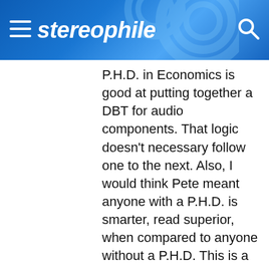stereophile
P.H.D. in Economics is good at putting together a DBT for audio components. That logic doesn't necessary follow one to the next. Also, I would think Pete meant anyone with a P.H.D. is smarter, read superior, when compared to anyone without a P.H.D. This is a common argument among "the elite" that has never held water once you've talked to a few P.H.D.'s. Of course, in Pete's view, who is smarter